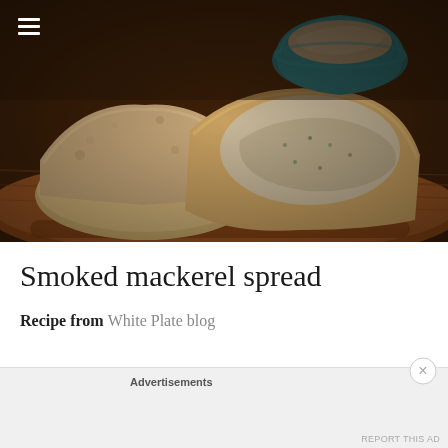[Figure (photo): Food photography of smoked mackerel spread on slices of artisan bread placed on a wooden cutting board, with a teal/blue ceramic bowl of mackerel spread in the background. Warm, dark lighting with rich brown wood tones.]
Smoked mackerel spread
Recipe from White Plate blog
Advertisements